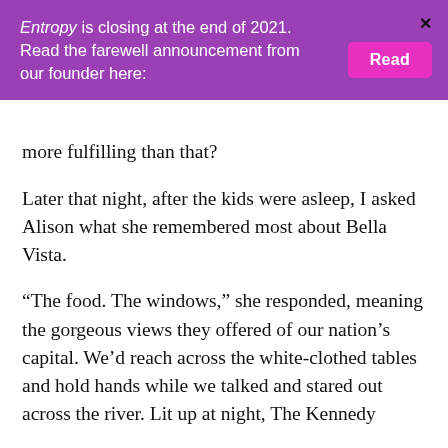Entropy is closing at the end of 2021. Read the farewell announcement from our founder here:
more fulfilling than that?
Later that night, after the kids were asleep, I asked Alison what she remembered most about Bella Vista.
“The food. The windows,” she responded, meaning the gorgeous views they offered of our nation’s capital. We’d reach across the white-clothed tables and hold hands while we talked and stared out across the river. Lit up at night, The Kennedy